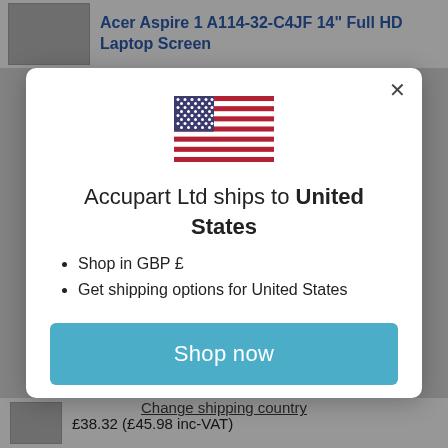Acer Aspire 1 A114-32-C4JF 14" Full HD Laptop Screen
[Figure (screenshot): A modal dialog box on an e-commerce product page. Contains a US flag icon, shipping information text, bullet points, a 'Shop now' button, and a 'Change shipping country' link.]
Accupart Ltd ships to United States
Shop in GBP £
Get shipping options for United States
Shop now
Change shipping country
£38.32 (£45.98 inc-VAT)